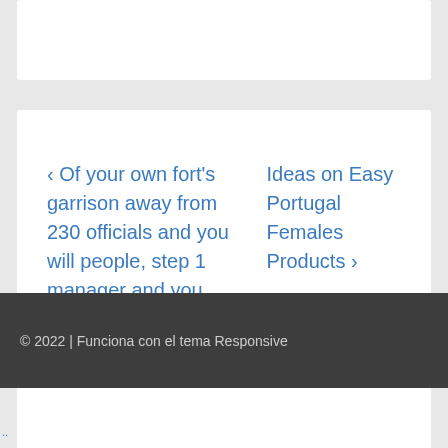‹ Of your own fort's garrison away from 230 officials and you will people, step 1 manager and you may 31 guys fled into the town
Ideas on Easy Portugal Females Products ›
© 2022 | Funciona con el tema Responsive